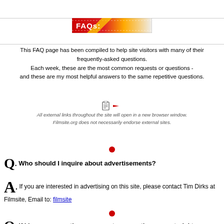[Figure (illustration): FAQs banner image with red and yellow gradient background and white text]
This FAQ page has been compiled to help site visitors with many of their frequently-asked questions.
Each week, these are the most common requests or questions -
and these are my most helpful answers to the same repetitive questions.
[Figure (illustration): Icon of a clipboard with an arrow pointing right, indicating external links]
All external links throughout the site will open in a new browser window.
Filmsite.org does not necessarily endorse external sites.
[Figure (illustration): Small red bullet/circle divider]
Q. Who should I inquire about advertisements?
A. If you are interested in advertising on this site, please contact Tim Dirks at Filmsite, Email to: filmsite
[Figure (illustration): Small red bullet/circle divider]
Q. If I have a correction, comment, suggestion, or material to submit...